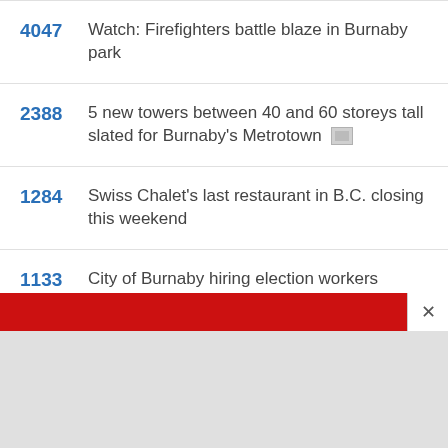4047 Watch: Firefighters battle blaze in Burnaby park
2388 5 new towers between 40 and 60 storeys tall slated for Burnaby's Metrotown
1284 Swiss Chalet's last restaurant in B.C. closing this weekend
1133 City of Burnaby hiring election workers
[Figure (other): Red banner bar with close (x) button, followed by grey advertisement area at the bottom of the page]